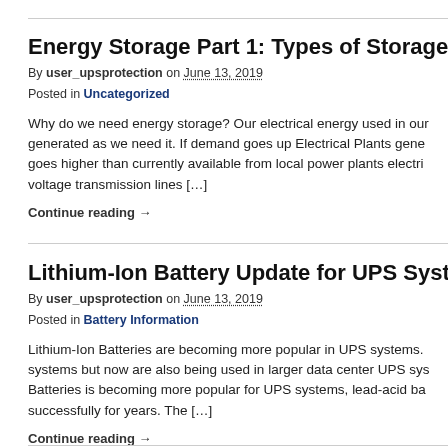Energy Storage Part 1: Types of Storage Sys…
By user_upsprotection on June 13, 2019
Posted in Uncategorized
Why do we need energy storage? Our electrical energy used in our… generated as we need it. If demand goes up Electrical Plants gene… goes higher than currently available from local power plants electri… voltage transmission lines […]
Continue reading →
Lithium-Ion Battery Update for UPS System…
By user_upsprotection on June 13, 2019
Posted in Battery Information
Lithium-Ion Batteries are becoming more popular in UPS systems. … systems but now are also being used in larger data center UPS sys… Batteries is becoming more popular for UPS systems, lead-acid ba… successfully for years.   The […]
Continue reading →